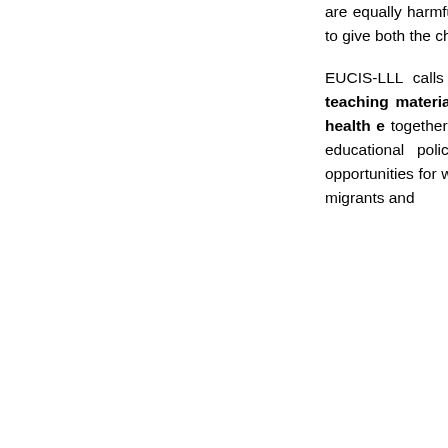are equally harmful to men and women and need to start being challenged in order to give both the chance of achieving their full potential.

EUCIS-LLL calls for mainstreaming gender equality. Gender-based stereotypes, often associated with "male" and "female" subjects/fields, and teaching materials that influence educational and career paths, attitudes about sexual orientation and identity need to be tackled. Young people need sexual health education to understand together what healthy relationships look like. A dialogue between civil society organisations is needed to make this dialogue happen at EU and national level. Including educational policies is essential as religion can be a strong obstacle to full gender equality, as sexuality is considered private matter and related topics. Equal opportunities for women are often considered as less attractive to men. Gender inequality is also present in education systems, with specific challenges facing the Roma, migrants and...